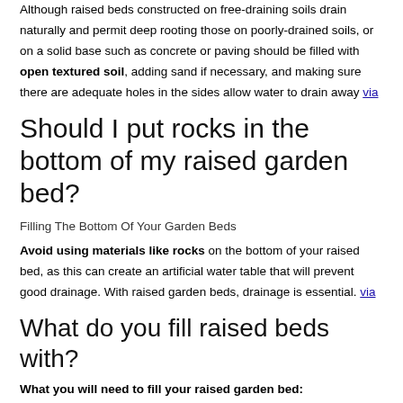Although raised beds constructed on free-draining soils drain naturally and permit deep rooting those on poorly-drained soils, or on a solid base such as concrete or paving should be filled with open textured soil, adding sand if necessary, and making sure there are adequate holes in the sides allow water to drain away via
Should I put rocks in the bottom of my raised garden bed?
Filling The Bottom Of Your Garden Beds
Avoid using materials like rocks on the bottom of your raised bed, as this can create an artificial water table that will prevent good drainage. With raised garden beds, drainage is essential. via
What do you fill raised beds with?
What you will need to fill your raised garden bed: